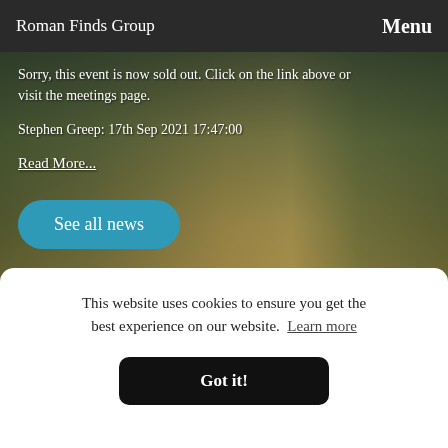Roman Finds Group    Menu
Sorry, this event is now sold out. Click on the link above or visit the meetings page.
Stephen Greep: 17th Sep 2021 17:47:00
Read More...
See all news
This website uses cookies to ensure you get the best experience on our website.  Learn more
Got it!